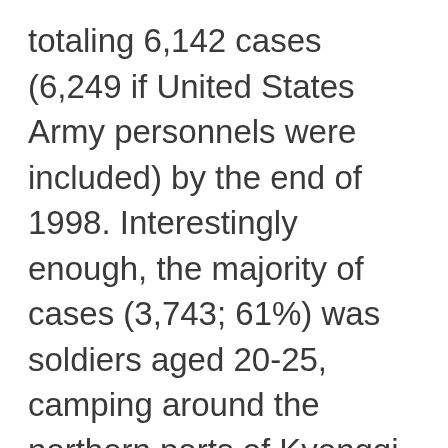totaling 6,142 cases (6,249 if United States Army personnels were included) by the end of 1998. Interestingly enough, the majority of cases (3,743; 61%) was soldiers aged 20-25, camping around the northern parts of Kyonggi-do or Gangwon-do (Province) just facing the DMZ. Among 2,399 civilian cases, 1,144 (47.7%) were